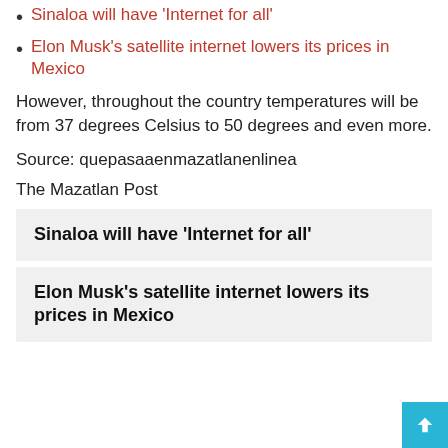Sinaloa will have ‘Internet for all’
Elon Musk’s satellite internet lowers its prices in Mexico
However, throughout the country temperatures will be from 37 degrees Celsius to 50 degrees and even more.
Source: quepasaaenmazatlanenlinea
The Mazatlan Post
Sinaloa will have ‘Internet for all’
Elon Musk’s satellite internet lowers its prices in Mexico